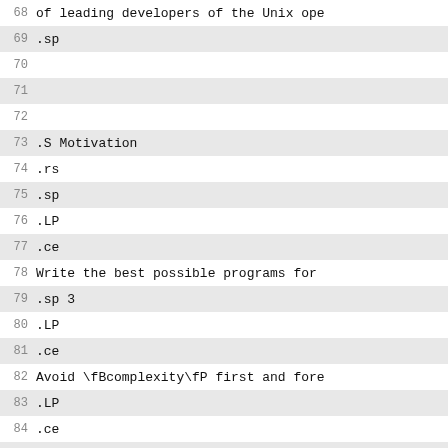68  of leading developers of the Unix ope
69  .sp
70
71
72
73  .S Motivation
74  .rs
75  .sp
76  .LP
77  .ce
78  Write the best possible programs for
79  .sp 3
80  .LP
81  .ce
82  Avoid \fBcomplexity\fP first and fore
83  .LP
84  .ce
85  Exploit software \fBleverage\fP!
86
87
88
89  .S "The Unix Phil by Doug McIlroy (1
90  .rs
91  .sp
92  .LP
93  This is the Unix philosophy:
94  .I
95  Write programs that do one thing and